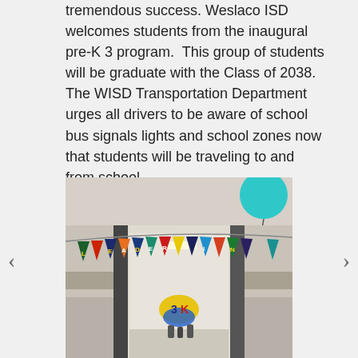tremendous success. Weslaco ISD welcomes students from the inaugural pre-K 3 program.  This group of students will be graduate with the Class of 2038.  The WISD Transportation Department urges all drivers to be aware of school bus signals lights and school zones now that students will be traveling to and from school.
[Figure (photo): School hallway decorated with colorful pennant banner flags spelling out letters, a teal balloon in the upper right corner, and students visible in the background of the corridor with yellow and blue decorations.]